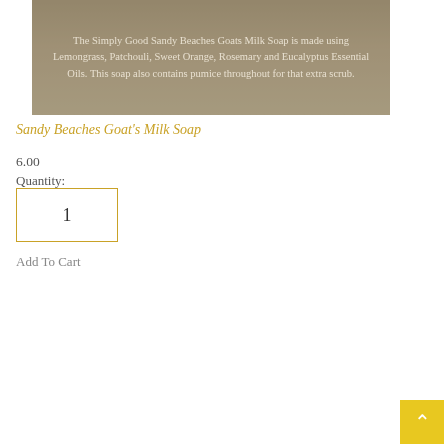[Figure (photo): Product image of Sandy Beaches Goat's Milk Soap with text overlay on a sandy/earthy textured background]
The Simply Good Sandy Beaches Goats Milk Soap is made using Lemongrass, Patchouli, Sweet Orange, Rosemary and Eucalyptus Essential Oils. This soap also contains pumice throughout for that extra scrub.
Sandy Beaches Goat's Milk Soap
6.00
Quantity:
1
Add To Cart
[Figure (photo): Product photo showing a bar of soap in a cardboard box with a window cutout, displayed against a rustic wooden background with flowers]